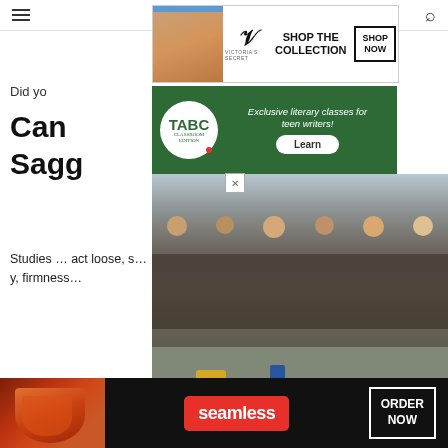[Figure (screenshot): Victoria's Secret advertisement banner showing a model with text 'SHOP THE COLLECTION' and 'SHOP NOW' button]
[Figure (screenshot): TABC Classroom Edition advertisement with green background, text 'Exclusive literary classes for teen writers!' and 'Learn' button]
[Figure (photo): Photo of students/young people sitting in rows at what appears to be a conference or classroom setting, taking notes]
Can ... Saggy...
Studies ... act loose, s... y, firmness...
Some of ... collagen are chicken , fish , pork , leafy greens, citrus fruits, egg whites, white tea, bone broth, and cashews.
However, taking collagen supplements may be e... ore efficient ... these foods. ... ken
[Figure (screenshot): Seamless food delivery advertisement showing pizza image, Seamless logo, and 'ORDER NOW' button]